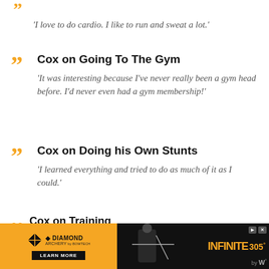'I love to do cardio. I like to run and sweat a lot.'
Cox on Going To The Gym
'It was interesting because I've never really been a gym head before. I'd never even had a gym membership!'
Cox on Doing his Own Stunts
'I learned everything and tried to do as much of it as I could.'
Cox on Training
[Figure (screenshot): Advertisement banner for Diamond Archery INFINITE 305 product with yellow and black design, Learn More button, and archery equipment image]